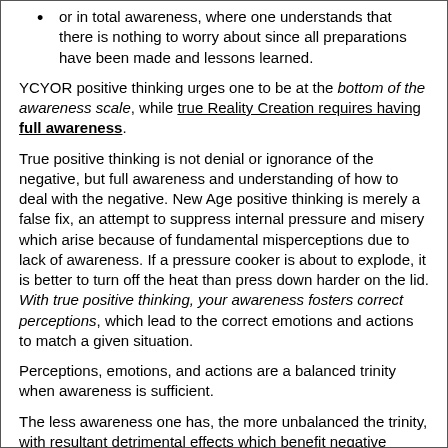or in total awareness, where one understands that there is nothing to worry about since all preparations have been made and lessons learned.
YCYOR positive thinking urges one to be at the bottom of the awareness scale, while true Reality Creation requires having full awareness.
True positive thinking is not denial or ignorance of the negative, but full awareness and understanding of how to deal with the negative. New Age positive thinking is merely a false fix, an attempt to suppress internal pressure and misery which arise because of fundamental misperceptions due to lack of awareness. If a pressure cooker is about to explode, it is better to turn off the heat than press down harder on the lid. With true positive thinking, your awareness fosters correct perceptions, which lead to the correct emotions and actions to match a given situation.
Perceptions, emotions, and actions are a balanced trinity when awareness is sufficient.
The less awareness one has, the more unbalanced the trinity, with resultant detrimental effects which benefit negative forces. Unbalanced perceptions make it easier for your reality and timeline to be manipulated, for attacks to happen through gaps in your awareness. Unbalanced actions lead to self-